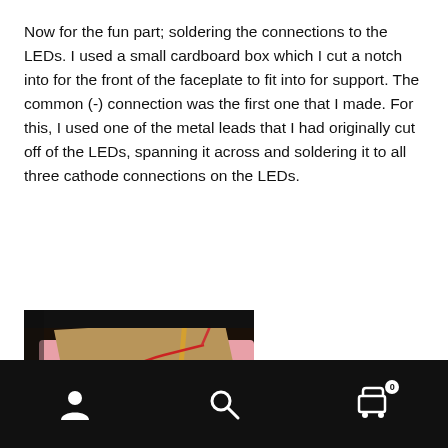Now for the fun part; soldering the connections to the LEDs. I used a small cardboard box which I cut a notch into for the front of the faceplate to fit into for support. The common (-) connection was the first one that I made. For this, I used one of the metal leads that I had originally cut off of the LEDs, spanning it across and soldering it to all three cathode connections on the LEDs.
[Figure (photo): Photo of a cardboard box with LEDs soldered on it, showing colored wires (red, blue, white) connected to the LED leads, placed inside a pink/red container]
Navigation bar with user icon, search icon, and cart icon with badge showing 0